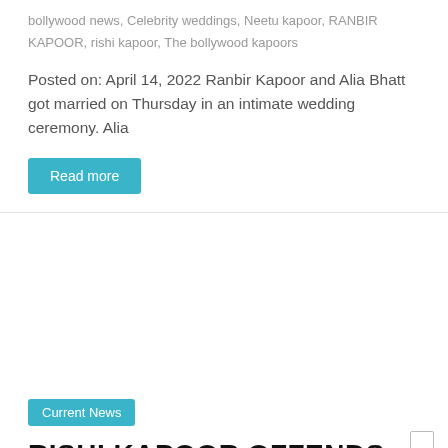bollywood news, Celebrity weddings, Neetu kapoor, RANBIR KAPOOR, rishi kapoor, The bollywood kapoors
Posted on: April 14, 2022 Ranbir Kapoor and Alia Bhatt got married on Thursday in an intimate wedding ceremony. Alia
Read more
[Figure (photo): Blank image placeholder for article photo]
Current News
RISHI KAPOOR OFFENDS AN NGO